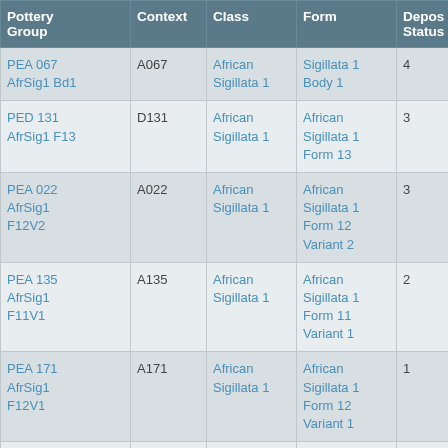| Pottery Group | Context | Class | Form | Depos Status | R Ct | R EV |
| --- | --- | --- | --- | --- | --- | --- |
| PEA 067 AfrSig1 Bd1 | A067 | African Sigillata 1 | Sigillata 1 Body 1 | 4 |  |  |
| PED 131 AfrSig1 F13 | D131 | African Sigillata 1 | African Sigillata 1 Form 13 | 3 | 1 | 1 |
| PEA 022 AfrSig1 F12V2 | A022 | African Sigillata 1 | African Sigillata 1 Form 12 Variant 2 | 3 | 1 | 1 |
| PEA 135 AfrSig1 F11V1 | A135 | African Sigillata 1 | African Sigillata 1 Form 11 Variant 1 | 2 | 2 | 2 |
| PEA 171 AfrSig1 F12V1 | A171 | African Sigillata 1 | African Sigillata 1 Form 12 Variant 1 | 1 | 1 | 1 |
| PEA 048 AfrSig4 Bd1 | A048 | African Sigillata 4 | African Sigillata 4 Body 1 | 2 |  |  |